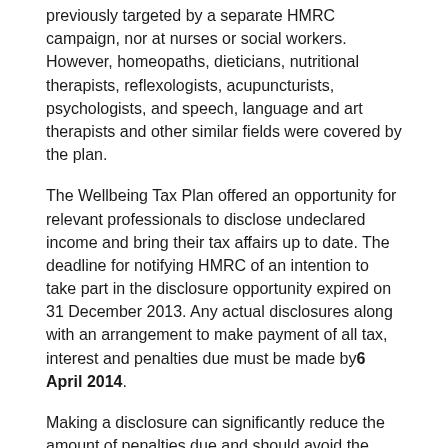previously targeted by a separate HMRC campaign, nor at nurses or social workers. However, homeopaths, dieticians, nutritional therapists, reflexologists, acupuncturists, psychologists, and speech, language and art therapists and other similar fields were covered by the plan.
The Wellbeing Tax Plan offered an opportunity for relevant professionals to disclose undeclared income and bring their tax affairs up to date. The deadline for notifying HMRC of an intention to take part in the disclosure opportunity expired on 31 December 2013. Any actual disclosures along with an arrangement to make payment of all tax, interest and penalties due must be made by 6 April 2014.
Making a disclosure can significantly reduce the amount of penalties due and should avoid the possibility of criminal investigations taking place. Most disclosures under the plan will be subject to a penalty rate of 10% with a maximum rate of 20%. Health and wellbeing professionals who currently have undisclosed taxable income are advised to strongly consider the benefits of making a disclosure under the plan.